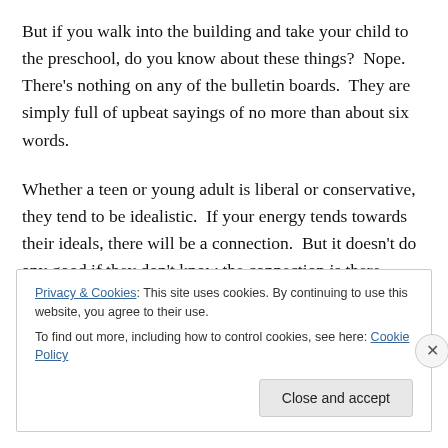But if you walk into the building and take your child to the preschool, do you know about these things?  Nope.  There’s nothing on any of the bulletin boards.  They are simply full of upbeat sayings of no more than about six words.
Whether a teen or young adult is liberal or conservative, they tend to be idealistic.  If your energy tends towards their ideals, there will be a connection.  But it doesn’t do any good if they don’t know the connection is there.
Privacy & Cookies: This site uses cookies. By continuing to use this website, you agree to their use.
To find out more, including how to control cookies, see here: Cookie Policy
Close and accept